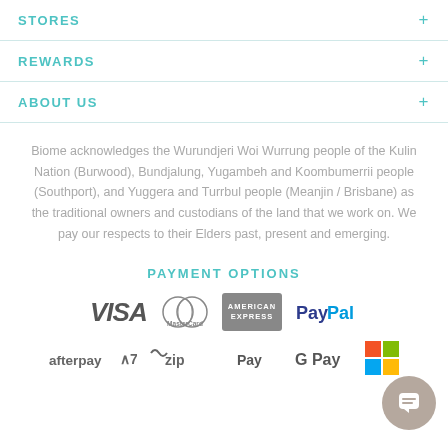STORES
REWARDS
ABOUT US
Biome acknowledges the Wurundjeri Woi Wurrung people of the Kulin Nation (Burwood), Bundjalung, Yugambeh and Koombumerrii people (Southport), and Yuggera and Turrbul people (Meanjin / Brisbane) as the traditional owners and custodians of the land that we work on. We pay our respects to their Elders past, present and emerging.
PAYMENT OPTIONS
[Figure (logo): Payment option logos: VISA, MasterCard, American Express, PayPal, Afterpay, Zip, Apple Pay, Google Pay, Microsoft Pay]